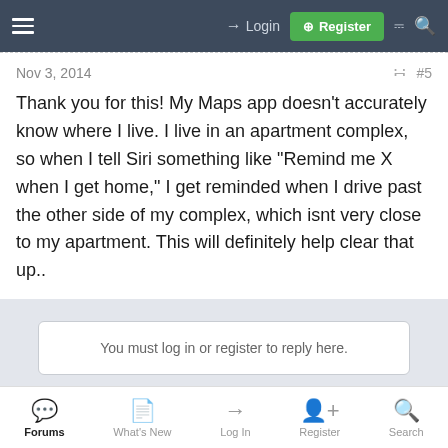Login | Register
Nov 3, 2014   #5
Thank you for this! My Maps app doesn't accurately know where I live. I live in an apartment complex, so when I tell Siri something like "Remind me X when I get home," I get reminded when I drive past the other side of my complex, which isnt very close to my apartment. This will definitely help clear that up..
You must log in or register to reply here.
Most reactions
Forums | What's New | Log In | Register | Search